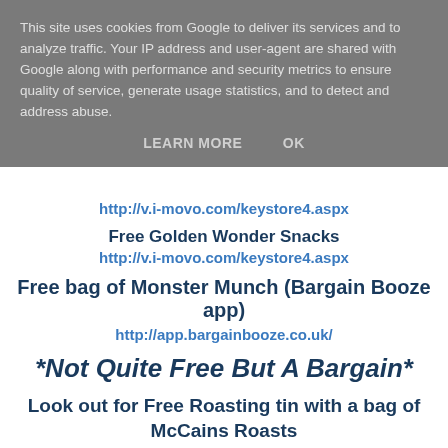This site uses cookies from Google to deliver its services and to analyze traffic. Your IP address and user-agent are shared with Google along with performance and security metrics to ensure quality of service, generate usage statistics, and to detect and address abuse.
LEARN MORE    OK
http://v.i-movo.com/keystore4.aspx
Free Golden Wonder Snacks
http://v.i-movo.com/keystore4.aspx
Free bag of Monster Munch (Bargain Booze app)
http://app.bargainbooze.co.uk/
*Not Quite Free But A Bargain*
Look out for Free Roasting tin with a bag of McCains Roasts
Promotion above 90 at back...